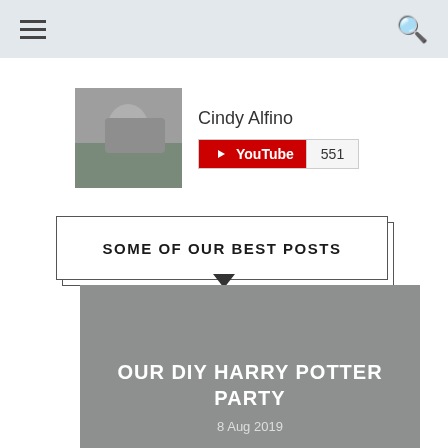≡ 🔍
[Figure (photo): Profile photo of Cindy Alfino showing a group of people by a vehicle]
Cindy Alfino
[Figure (logo): YouTube subscribe button with count 551]
SOME OF OUR BEST POSTS
[Figure (photo): Gray placeholder image for blog post: OUR DIY HARRY POTTER PARTY, dated 8 Aug 2019]